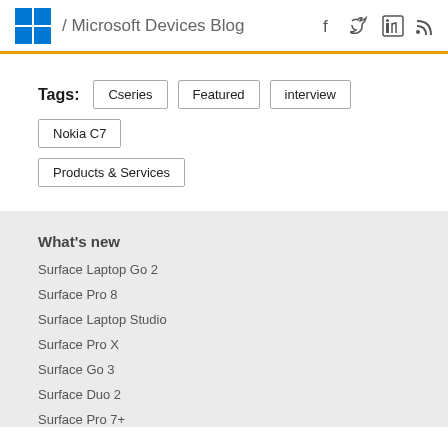/ Microsoft Devices Blog
Tags: Cseries  Featured  interview  Nokia C7  Products & Services
What's new
Surface Laptop Go 2
Surface Pro 8
Surface Laptop Studio
Surface Pro X
Surface Go 3
Surface Duo 2
Surface Pro 7+